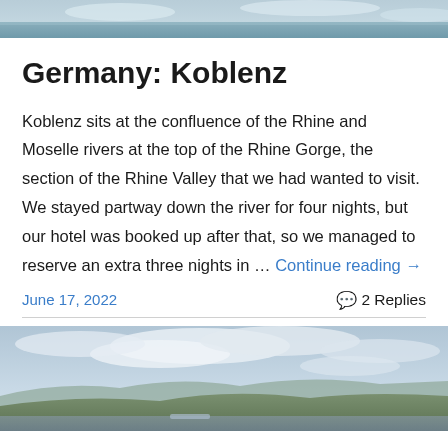[Figure (photo): Partial view of a river/water scene at the top of the page]
Germany: Koblenz
Koblenz sits at the confluence of the Rhine and Moselle rivers at the top of the Rhine Gorge, the section of the Rhine Valley that we had wanted to visit. We stayed partway down the river for four nights, but our hotel was booked up after that, so we managed to reserve an extra three nights in … Continue reading →
June 17, 2022
2 Replies
[Figure (photo): Landscape photo showing a cloudy sky over hills and a river valley, likely the Rhine Gorge area near Koblenz]